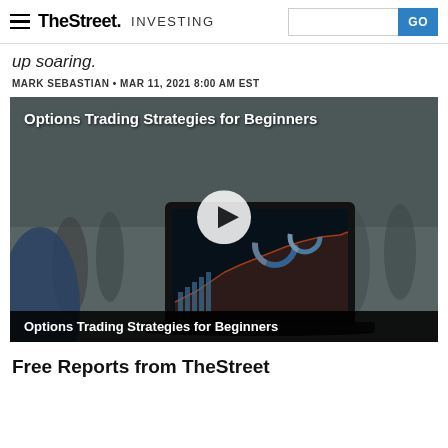TheStreet INVESTING
up soaring.
MARK SEBASTIAN • MAR 11, 2021 8:00 AM EST
[Figure (screenshot): Video thumbnail showing a person using a laptop with financial charts on screen and people walking in background. Title overlay reads 'Options Trading Strategies for Beginners' with a play button in the center. Bottom bar shows caption 'Options Trading Strategies for Beginners'.]
Free Reports from TheStreet